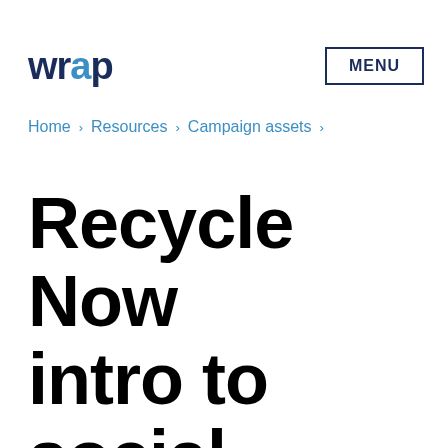wrap MENU
Home › Resources › Campaign assets ›
Recycle Now intro to social norming and